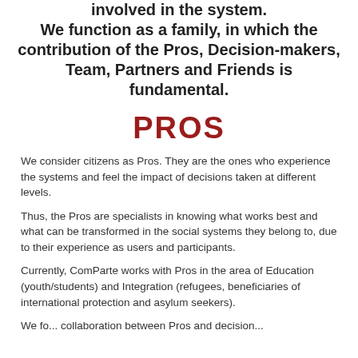We function as a family, in which the contribution of the Pros, Decision-makers, Team, Partners and Friends is fundamental.
PROS
We consider citizens as Pros. They are the ones who experience the systems and feel the impact of decisions taken at different levels.
Thus, the Pros are specialists in knowing what works best and what can be transformed in the social systems they belong to, due to their experience as users and participants.
Currently, ComParte works with Pros in the area of Education (youth/students) and Integration (refugees, beneficiaries of international protection and asylum seekers).
We fo... collaboration between Pros and decision...